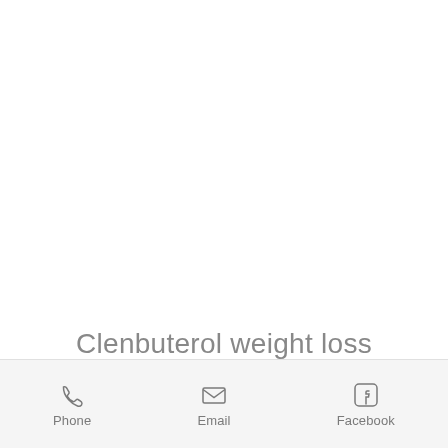Clenbuterol weight loss
Phone  Email  Facebook